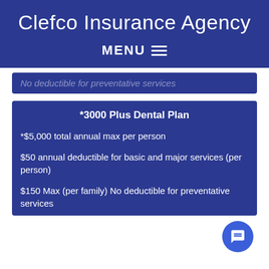Clefco Insurance Agency
MENU ☰
No deductible for preventative services
*3000 Plus Dental Plan
*$5,000 total annual max per person
$50 annual deductible for basic and major services (per person)
$150 Max (per family) No deductible for preventative services